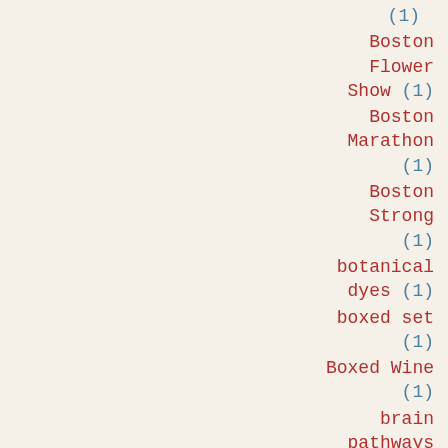(1)
Boston Flower Show (1)
Boston Marathon (1)
Boston Strong (1)
botanical dyes (1)
boxed set (1)
Boxed Wine (1)
brain pathways